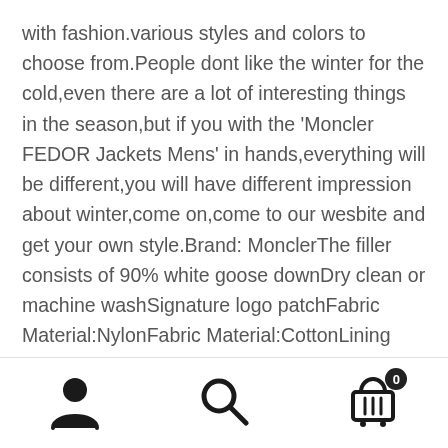with fashion.various styles and colors to choose from.People dont like the winter for the cold,even there are a lot of interesting things in the season,but if you with the 'Moncler FEDOR Jackets Mens' in hands,everything will be different,you will have different impression about winter,come on,come to our wesbite and get your own style.Brand: MonclerThe filler consists of 90% white goose downDry clean or machine washSignature logo patchFabric Material:NylonFabric Material:CottonLining Material:PolyesterBrand new with retail packingWith tag.Our website is the best place for you to get the 'Moncler FEDOR Down Jackets Mens',for our price is so nice,and the quality is on the top,too.All the goods are brand new,luxurious and stylish.We usually send out the package within 24 hours after the order and provide you
[Figure (infographic): Bottom navigation bar with three icons: person/account icon on the left, search/magnifying glass icon in the center, and shopping cart icon with badge showing '0' on the right]